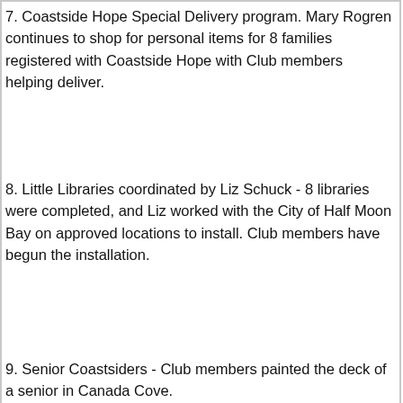7. Coastside Hope Special Delivery program. Mary Rogren continues to shop for personal items for 8 families registered with Coastside Hope with Club members helping deliver.
8. Little Libraries coordinated by Liz Schuck - 8 libraries were completed, and Liz worked with the City of Half Moon Bay on approved locations to install. Club members have begun the installation.
9. Senior Coastsiders - Club members painted the deck of a senior in Canada Cove.
10. Senior Coastsiders - Club members participated in the “Meals on Wheels” program to act as back up relief for volunteers who are unable to be there.
This website uses cookies to ensure you get the best experience on our website. Learn more
12. Life Skills at the High School - Club members provide a series of classes at all three Coastside Schools that help fill some education gaps that may be missing for graduating